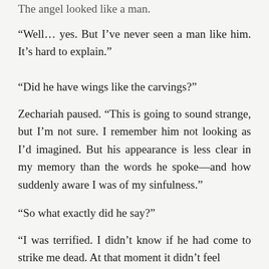The angel looked like a man.
“Well… yes. But I’ve never seen a man like him. It’s hard to explain.”
“Did he have wings like the carvings?”
Zechariah paused. “This is going to sound strange, but I’m not sure. I remember him not looking as I’d imagined. But his appearance is less clear in my memory than the words he spoke—and how suddenly aware I was of my sinfulness.”
“So what exactly did he say?”
“I was terrified. I didn’t know if he had come to strike me dead. At that moment it didn’t feel